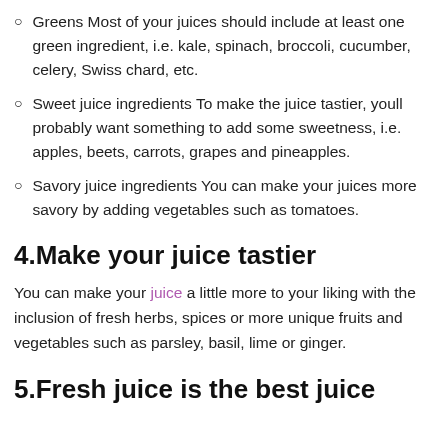Greens Most of your juices should include at least one green ingredient, i.e. kale, spinach, broccoli, cucumber, celery, Swiss chard, etc.
Sweet juice ingredients To make the juice tastier, youll probably want something to add some sweetness, i.e. apples, beets, carrots, grapes and pineapples.
Savory juice ingredients You can make your juices more savory by adding vegetables such as tomatoes.
4.Make your juice tastier
You can make your juice a little more to your liking with the inclusion of fresh herbs, spices or more unique fruits and vegetables such as parsley, basil, lime or ginger.
5.Fresh juice is the best juice